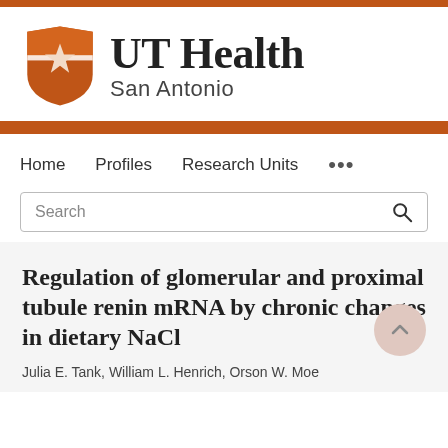[Figure (logo): UT Health San Antonio logo with orange shield containing a star and bold serif text 'UT Health' with 'San Antonio' below]
Home   Profiles   Research Units   ...
Search
Regulation of glomerular and proximal tubule renin mRNA by chronic changes in dietary NaCl
Julia E. Tank, William L. Henrich, Orson W. Moe